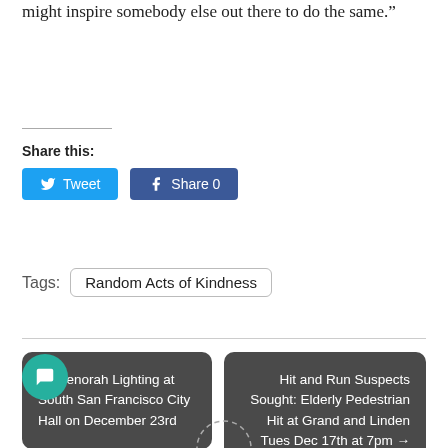might inspire somebody else out there to do the same.”
Share this:
[Figure (other): Tweet and Facebook Share buttons]
Tags: Random Acts of Kindness
← Menorah Lighting at South San Francisco City Hall on December 23rd
Hit and Run Suspects Sought: Elderly Pedestrian Hit at Grand and Linden Tues Dec 17th at 7pm →
[Figure (other): Green chat button circle at bottom left]
[Figure (other): Scroll down dashed circle indicator at bottom center]